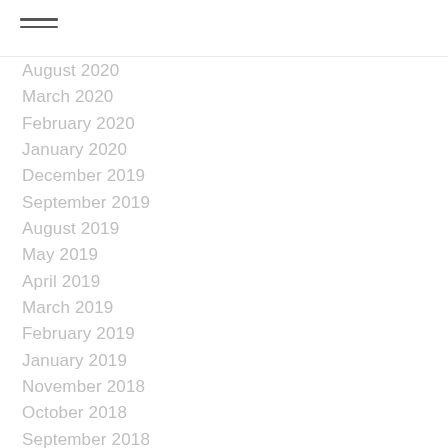[Figure (other): Hamburger menu icon with three horizontal lines]
August 2020
March 2020
February 2020
January 2020
December 2019
September 2019
August 2019
May 2019
April 2019
March 2019
February 2019
January 2019
November 2018
October 2018
September 2018
August 2018
July 2018
June 2018